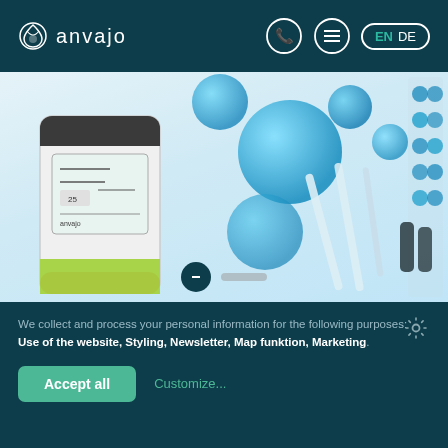anvajo — EN / DE navigation header with phone and menu icons
[Figure (photo): Laboratory equipment photo showing a handheld measurement device with a screen displaying data, surrounded by blue liquid-filled laboratory glassware (petri dishes, test tubes, vials) on a white surface]
We collect and process your personal information for the following purposes: Use of the website, Styling, Newsletter, Map funktion, Marketing.
Accept all   Customize...